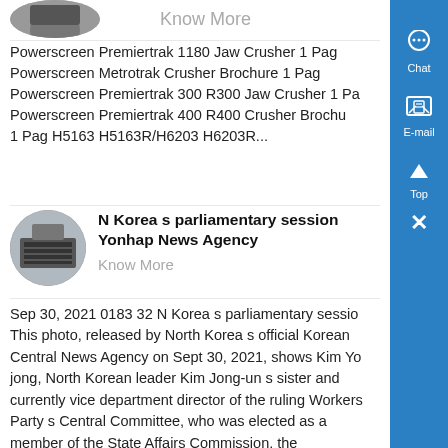[Figure (photo): Partial circular image at top left, cropped]
Know More
Powerscreen Premiertrak 1180 Jaw Crusher 1 Pag
Powerscreen Metrotrak Crusher Brochure 1 Pag
Powerscreen Premiertrak 300 R300 Jaw Crusher 1 Pa
Powerscreen Premiertrak 400 R400 Crusher Brochu
1 Pag H5163 H5163R/H6203 H6203R...
[Figure (photo): Circular thumbnail image of industrial equipment (screen/vibrator)]
N Korea s parliamentary session
Yonhap News Agency
Know More
Sep 30, 2021 0183 32 N Korea s parliamentary sessio This photo, released by North Korea s official Korean Central News Agency on Sept 30, 2021, shows Kim Yo jong, North Korean leader Kim Jong-un s sister and currently vice department director of the ruling Workers Party s Central Committee, who was elected as a member of the State Affairs Commission, the